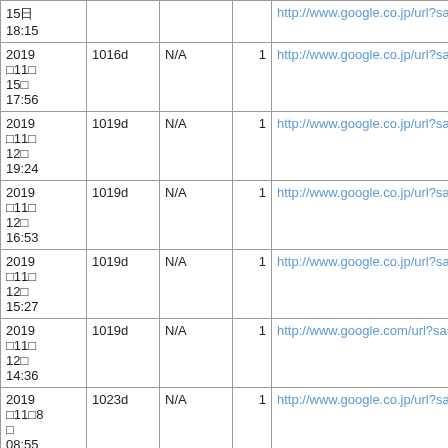| Date | ID | N/A | Num | URL |
| --- | --- | --- | --- | --- |
| 2019đ15đ
18:15 |  |  |  | http://www.google.co.jp/url?sa=t&rct=j&... |
| 2019đ11đ
15đ
17:56 | 1016d | N/A | 1 | http://www.google.co.jp/url?sa=t&rct=j& |
| 2019đ11đ
12đ
19:24 | 1019d | N/A | 1 | http://www.google.co.jp/url?sa=t&rct=j& |
| 2019đ11đ
12đ
16:53 | 1019d | N/A | 1 | http://www.google.co.jp/url?sa=t&rct=j& |
| 2019đ11đ
12đ
15:27 | 1019d | N/A | 1 | http://www.google.co.jp/url?sa=t&rct=j& |
| 2019đ11đ
12đ
14:36 | 1019d | N/A | 1 | http://www.google.com/url?sa=t&rct=j& |
| 2019đ11đ8đ
đ
08:55 | 1023d | N/A | 1 | http://www.google.co.jp/url?sa=t&rct=j& |
| 2019đ11đ7đ | 1034d | N/A | 1 | http://www.google.co.jp/url?sa=t&rct=j& |